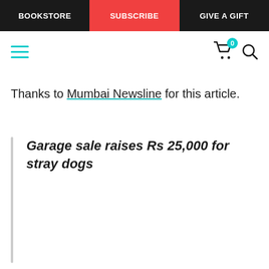BOOKSTORE | SUBSCRIBE | GIVE A GIFT
Thanks to Mumbai Newsline for this article.
Garage sale raises Rs 25,000 for stray dogs